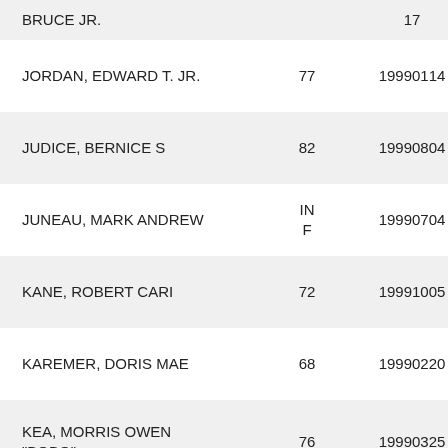| Name | Age | Date | Code |
| --- | --- | --- | --- |
| BRUCE JR. |  | 17 |  |
| JORDAN, EDWARD T. JR. | 77 | 19990114 | 4D |
| JUDICE, BERNICE S | 82 | 19990804 | 4D |
| JUNEAU, MARK ANDREW | INF | 19990704 | 10C |
| KANE, ROBERT CARI | 72 | 19991005 | 7A |
| KAREMER, DORIS MAE | 68 | 19990220 | 4D |
| KEA, MORRIS OWEN "BOBO" | 76 | 19990325 | 4D |
| KELLEY, DONALD | 72 | 199911 | 4D |